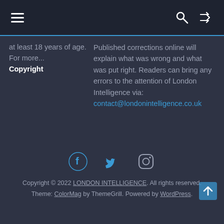Navigation bar with hamburger menu, search icon, and shuffle icon
at least 18 years of age. For more...
Copyright
Published corrections online will explain what was wrong and what was put right. Readers can bring any errors to the attention of London Intelligence via: contact@londonintelligence.co.uk
[Figure (infographic): Social media icons: Facebook, Twitter, Instagram]
Copyright © 2022 LONDON INTELLIGENCE. All rights reserved.
Theme: ColorMag by ThemeGrill. Powered by WordPress.